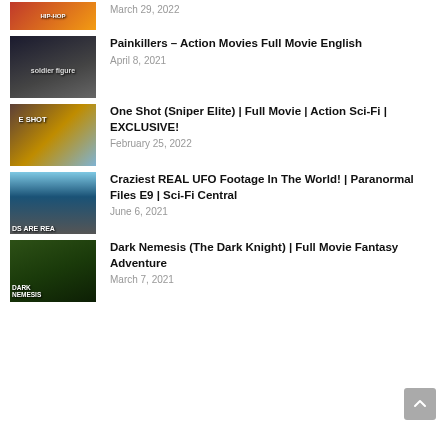March 29, 2022
Painkillers – Action Movies Full Movie English
April 8, 2021
One Shot (Sniper Elite) | Full Movie | Action Sci-Fi | EXCLUSIVE!
February 25, 2022
Craziest REAL UFO Footage In The World! | Paranormal Files E9 | Sci-Fi Central
June 6, 2021
Dark Nemesis (The Dark Knight) | Full Movie Fantasy Adventure
March 7, 2021
[Figure (screenshot): Scroll-to-top button in bottom right corner]